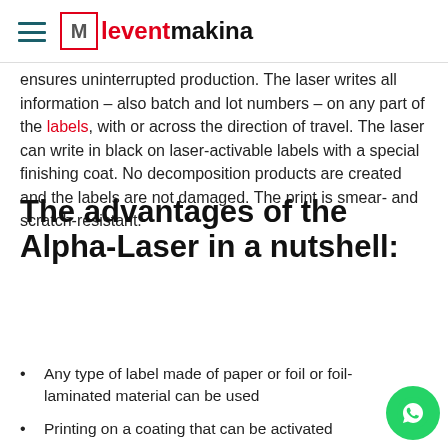leventmakina
ensures uninterrupted production. The laser writes all information – also batch and lot numbers – on any part of the labels, with or across the direction of travel. The laser can write in black on laser-activable labels with a special finishing coat. No decomposition products are created and the labels are not damaged. The print is smear- and scratch-resistant.
The advantages of the Alpha-Laser in a nutshell:
Any type of label made of paper or foil or foil-laminated material can be used
Printing on a coating that can be activated